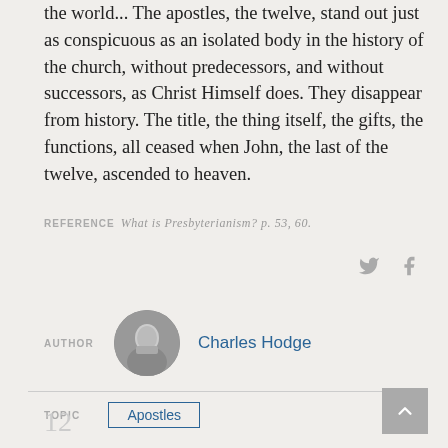the world... The apostles, the twelve, stand out just as conspicuous as an isolated body in the history of the church, without predecessors, and without successors, as Christ Himself does. They disappear from history. The title, the thing itself, the gifts, the functions, all ceased when John, the last of the twelve, ascended to heaven.
REFERENCE   What is Presbyterianism? p. 53, 60.
AUTHOR   Charles Hodge
TOPIC   Apostles